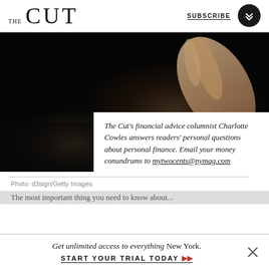THE CUT | SUBSCRIBE
[Figure (photo): Dark moody photograph of a hand touching a smartphone on a dark surface, seen from above]
The Cut's financial advice columnist Charlotte Cowles answers readers' personal questions about personal finance. Email your money conundrums to mytwocents@nymag.com
Photo: d3sign/Getty Images
Get unlimited access to everything New York.
START YOUR TRIAL TODAY ▶▶